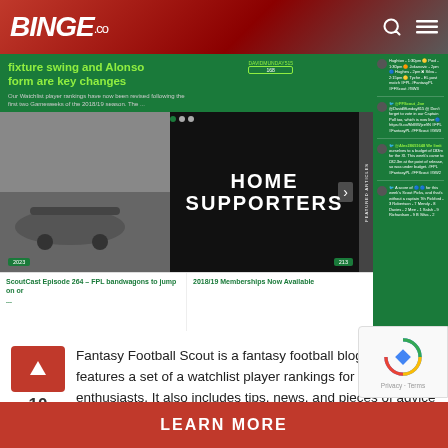BINGE.co
[Figure (screenshot): Screenshot of Fantasy Football Scout website showing articles about fixture swing, Alonso form, ScoutCast Episode 264, and 2018/19 Memberships with tweet sidebar]
Fantasy Football Scout is a fantasy football blog that features a set of a watchlist player rankings for all the soccer enthusiasts. It also includes tips, news, and pieces of advice based on the  English Premier League.
LEARN MORE